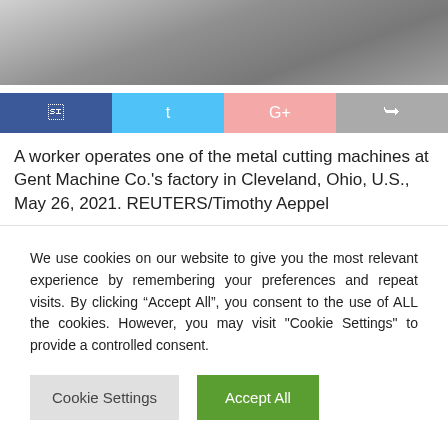[Figure (photo): A worker operates metal cutting machines at a factory. Industrial machinery visible, grayscale/muted tone photograph cropped at top of page.]
[Figure (infographic): Social media sharing buttons: Facebook (dark blue), Twitter (light blue), Google+ (pink), Share/forward (gray)]
A worker operates one of the metal cutting machines at Gent Machine Co.'s factory in Cleveland, Ohio, U.S., May 26, 2021. REUTERS/Timothy Aeppel
We use cookies on our website to give you the most relevant experience by remembering your preferences and repeat visits. By clicking “Accept All”, you consent to the use of ALL the cookies. However, you may visit "Cookie Settings" to provide a controlled consent.